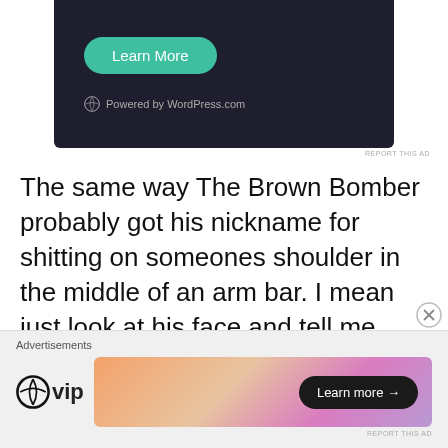[Figure (screenshot): Dark-background advertisement panel with a green 'Learn More' rounded button and WordPress.com powered logo in gray]
REPORT THIS AD
The same way The Brown Bomber probably got his nickname for shitting on someones shoulder in the middle of an arm bar. I mean just look at his face and tell me that's not a guy who shits his pants on a weekly basis. He would probably fight in a diaper if Huggies
[Figure (screenshot): Bottom advertisement bar with 'Advertisements' label, WordPress VIP logo, and a colorful gradient banner ad with dark 'Learn more →' button]